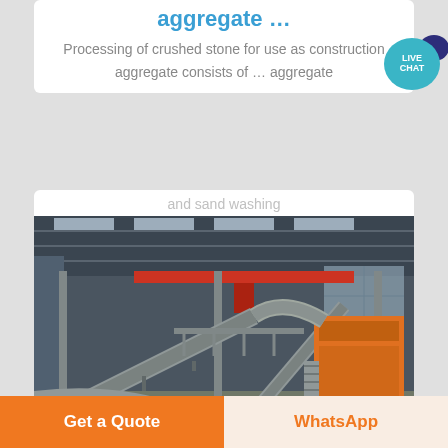aggregate ...
Processing of crushed stone for use as construction aggregate consists of ... aggregate
and sand washing
[Figure (photo): Interior of a large industrial factory/plant with conveyor belts, steel structure framework, and orange processing equipment for aggregate or mining operations]
Get a Quote
WhatsApp